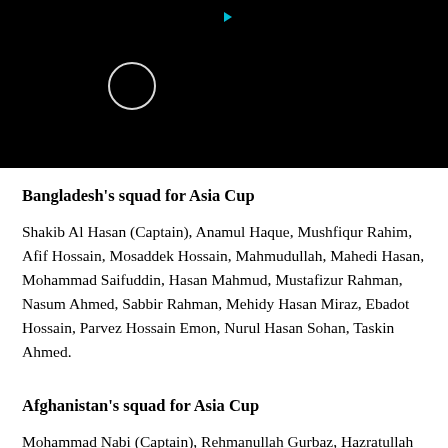[Figure (screenshot): Black video player area with a loading circle spinner on the left side and a small cyan play indicator triangle at the top center.]
Bangladesh's squad for Asia Cup
Shakib Al Hasan (Captain), Anamul Haque, Mushfiqur Rahim, Afif Hossain, Mosaddek Hossain, Mahmudullah, Mahedi Hasan, Mohammad Saifuddin, Hasan Mahmud, Mustafizur Rahman, Nasum Ahmed, Sabbir Rahman, Mehidy Hasan Miraz, Ebadot Hossain, Parvez Hossain Emon, Nurul Hasan Sohan, Taskin Ahmed.
Afghanistan's squad for Asia Cup
Mohammad Nabi (Captain), Rehmanullah Gurbaz, Hazratullah Zazai, Ibrahim Zadran, Usman Ghani,